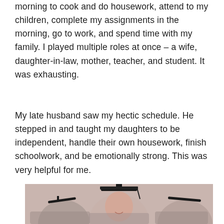morning to cook and do housework, attend to my children, complete my assignments in the morning, go to work, and spend time with my family. I played multiple roles at once – a wife, daughter-in-law, mother, teacher, and student. It was exhausting.
My late husband saw my hectic schedule. He stepped in and taught my daughters to be independent, handle their own housework, finish schoolwork, and be emotionally strong. This was very helpful for me.
[Figure (photo): Three women in graduation caps and gowns posing together; the central figure wears a full cap and gown, and two others flank her, also in graduation attire, against a light pinkish-beige background.]